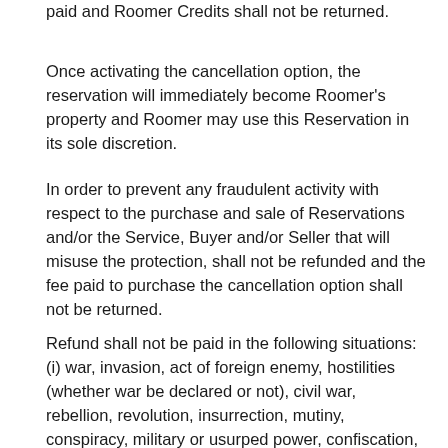paid and Roomer Credits shall not be returned.
Once activating the cancellation option, the reservation will immediately become Roomer's property and Roomer may use this Reservation in its sole discretion.
In order to prevent any fraudulent activity with respect to the purchase and sale of Reservations and/or the Service, Buyer and/or Seller that will misuse the protection, shall not be refunded and the fee paid to purchase the cancellation option shall not be returned.
Refund shall not be paid in the following situations: (i) war, invasion, act of foreign enemy, hostilities (whether war be declared or not), civil war, rebellion, revolution, insurrection, mutiny, conspiracy, military or usurped power, confiscation, nationalization, commandeering, requisition or destruction or damage by or under the order of any government de jure or de facto or by any public or local authority; (ii) any nuclear, radioactive, biological, biochemical, chemical, electromagnetic, toxic, explosive or otherwise hazardous contamination or